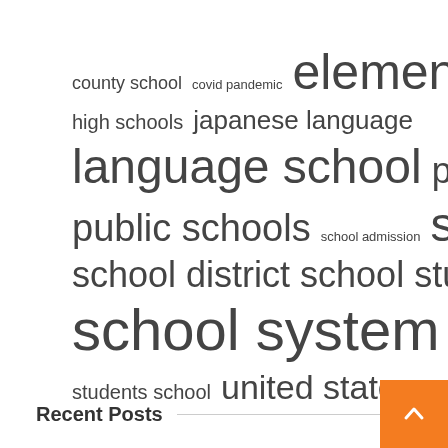[Figure (infographic): Tag cloud with education-related terms in various font sizes. Terms include: county school, covid pandemic, elementary school, high schools, japanese language, language school, primary school, public schools, school admission, school board, school district, school students, school system, school year, students school, united states.]
Recent Posts